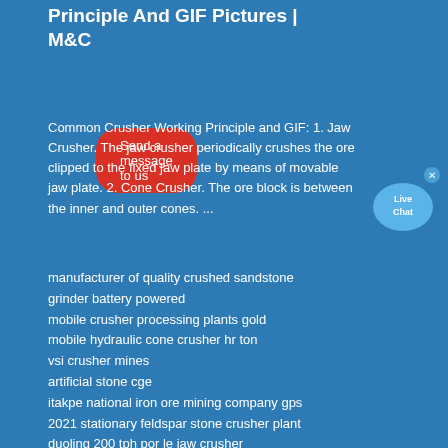Principle And GIF Pictures | M&C
Send a message to us
Common Crusher Working Principle and GIF: 1. Jaw Crusher. The jaw crusher periodically crushes the ore clipped to the fixed jaw plate by means of movable jaw plate. 2. Cone Crusher. The ore block is between the inner and outer cones. ...
[Figure (illustration): Live Chat bubble icon in light blue]
manufacturer of quality crushed sandstone
grinder battery powered
mobile crusher processing plants gold
mobile hydraulic cone crusher hr ton
vsi crusher mines
artificial stone cge
itakpe national iron ore mining company gps
2021 stationary feldspar stone crusher plant
duoling 200 tph por le jaw crusher
crushing strength rock crusher